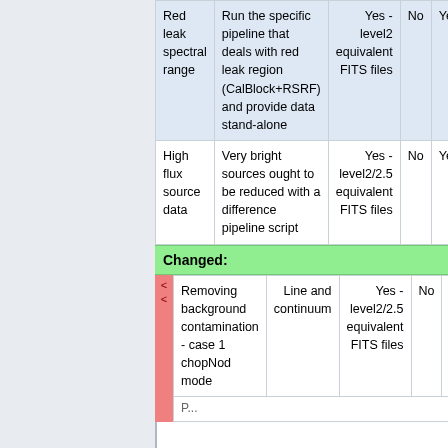|  | Description | Output | Auto | Manual | ... |
| --- | --- | --- | --- | --- | --- |
| Red leak spectral range | Run the specific pipeline that deals with red leak region (CalBlock+RSRF) and provide data stand-alone | Yes - level2 equivalent FITS files | No | Yes | M... |
| High flux source data | Very bright sources ought to be reduced with a difference pipeline script | Yes - level2/2.5 equivalent FITS files | No | Yes | m... ma... b... |
Changed:
|  | Description | Output | Auto | Manual | ... |
| --- | --- | --- | --- | --- | --- |
| Removing background contamination - case 1 chopNod mode | Line and continuum | Yes - level2/2.5 equivalent FITS files | No | Yes | N... d... p... to... w... re... |